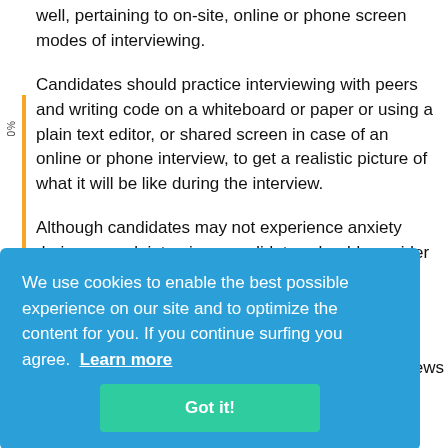well, pertaining to on-site, online or phone screen modes of interviewing.
Candidates should practice interviewing with peers and writing code on a whiteboard or paper or using a plain text editor, or shared screen in case of an online or phone interview, to get a realistic picture of what it will be like during the interview.
Although candidates may not experience anxiety during a mock interview, candidates should consider
We use cookies to enable the best possible experience on our site and to optimize the content for you. If you continue surfing you agree.  Learn more
Got it!
ews